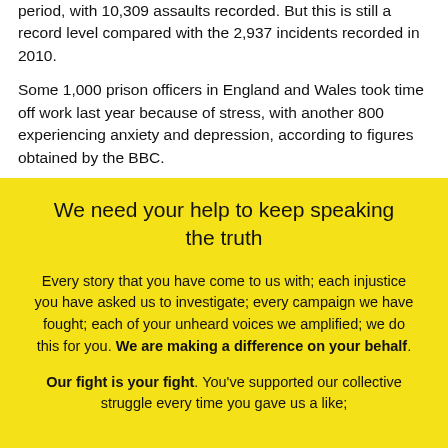period, with 10,309 assaults recorded. But this is still a record level compared with the 2,937 incidents recorded in 2010.
Some 1,000 prison officers in England and Wales took time off work last year because of stress, with another 800 experiencing anxiety and depression, according to figures obtained by the BBC.
We need your help to keep speaking the truth
Every story that you have come to us with; each injustice you have asked us to investigate; every campaign we have fought; each of your unheard voices we amplified; we do this for you. We are making a difference on your behalf.
Our fight is your fight. You've supported our collective struggle every time you gave us a like;